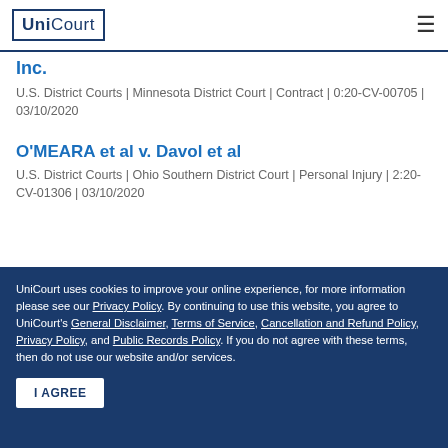UniCourt
Inc.
U.S. District Courts | Minnesota District Court | Contract | 0:20-CV-00705 | 03/10/2020
O'MEARA et al v. Davol et al
U.S. District Courts | Ohio Southern District Court | Personal Injury | 2:20-CV-01306 | 03/10/2020
UniCourt uses cookies to improve your online experience, for more information please see our Privacy Policy. By continuing to use this website, you agree to UniCourt's General Disclaimer, Terms of Service, Cancellation and Refund Policy, Privacy Policy, and Public Records Policy. If you do not agree with these terms, then do not use our website and/or services.